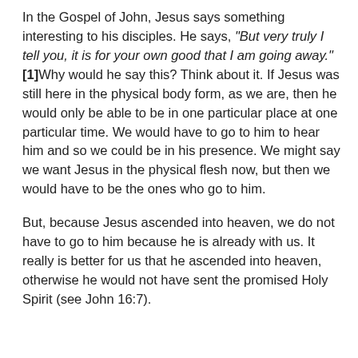In the Gospel of John, Jesus says something interesting to his disciples. He says, "But very truly I tell you, it is for your own good that I am going away."[1]Why would he say this? Think about it. If Jesus was still here in the physical body form, as we are, then he would only be able to be in one particular place at one particular time. We would have to go to him to hear him and so we could be in his presence. We might say we want Jesus in the physical flesh now, but then we would have to be the ones who go to him.
But, because Jesus ascended into heaven, we do not have to go to him because he is already with us. It really is better for us that he ascended into heaven, otherwise he would not have sent the promised Holy Spirit (see John 16:7).